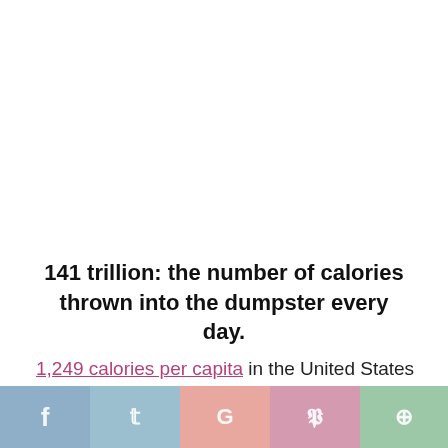141 trillion: the number of calories thrown into the dumpster every day.
1,249 calories per capita in the United States are discarded and 30- 40% of that food waste is at the consumer level. We are going to talk about world ...nd what we might do in our